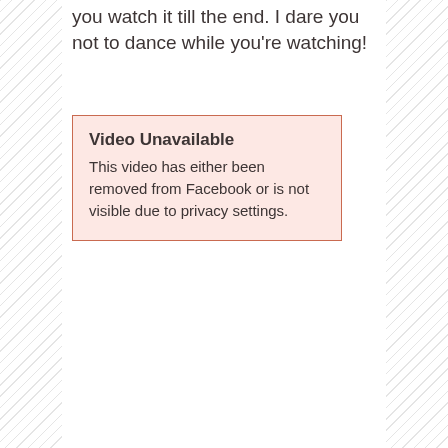you watch it till the end. I dare you not to dance while you're watching!
[Figure (other): Video Unavailable error box with pink background and orange border. Title: 'Video Unavailable'. Body: 'This video has either been removed from Facebook or is not visible due to privacy settings.']